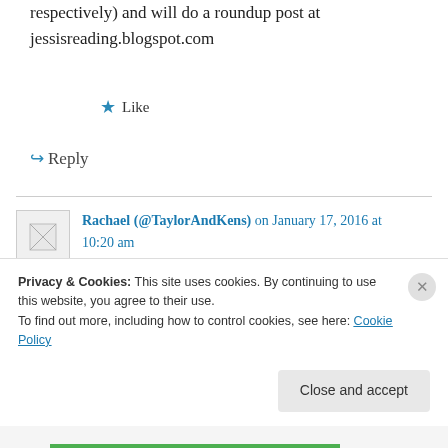respectively) and will do a roundup post at jessisreading.blogspot.com
★ Like
↪ Reply
Rachael (@TaylorAndKens) on January 17, 2016 at 10:20 am
Where in the world are you reading from this weekend? –> Cincinnati, Ohio
Have you done the 24in48 readathon before? –>
Privacy & Cookies: This site uses cookies. By continuing to use this website, you agree to their use.
To find out more, including how to control cookies, see here: Cookie Policy
Close and accept